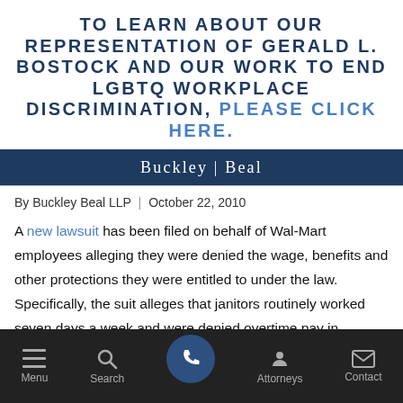TO LEARN ABOUT OUR REPRESENTATION OF GERALD L. BOSTOCK AND OUR WORK TO END LGBTQ WORKPLACE DISCRIMINATION, PLEASE CLICK HERE.
[Figure (logo): Buckley | Beal law firm logo on dark navy background]
By Buckley Beal LLP | October 22, 2010
A new lawsuit has been filed on behalf of Wal-Mart employees alleging they were denied the wage, benefits and other protections they were entitled to under the law. Specifically, the suit alleges that janitors routinely worked seven days a week and were denied overtime pay in violation of the Fair Labor Standards
Menu  Search  [Call]  Attorneys  Contact